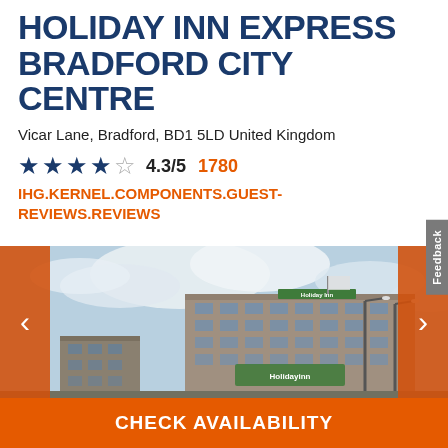HOLIDAY INN EXPRESS BRADFORD CITY CENTRE
Vicar Lane, Bradford, BD1 5LD United Kingdom
★ ★ ★ ★ ☆ 4.3/5  1780
IHG.KERNEL.COMPONENTS.GUEST-REVIEWS.REVIEWS
[Figure (photo): Exterior photo of Holiday Inn Express Bradford City Centre hotel building against a partly cloudy sky. The hotel is a multi-storey modern building with a Holiday Inn logo visible on the facade. Street lights and a flag are visible in the foreground.]
CHECK AVAILABILITY